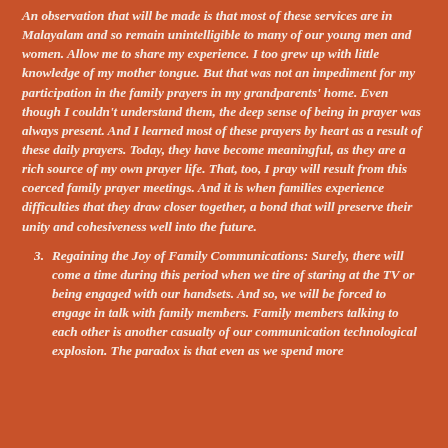An observation that will be made is that most of these services are in Malayalam and so remain unintelligible to many of our young men and women. Allow me to share my experience. I too grew up with little knowledge of my mother tongue. But that was not an impediment for my participation in the family prayers in my grandparents' home. Even though I couldn't understand them, the deep sense of being in prayer was always present. And I learned most of these prayers by heart as a result of these daily prayers. Today, they have become meaningful, as they are a rich source of my own prayer life. That, too, I pray will result from this coerced family prayer meetings. And it is when families experience difficulties that they draw closer together, a bond that will preserve their unity and cohesiveness well into the future.
3. Regaining the Joy of Family Communications: Surely, there will come a time during this period when we tire of staring at the TV or being engaged with our handsets. And so, we will be forced to engage in talk with family members. Family members talking to each other is another casualty of our communication technological explosion. The paradox is that even as we spend more